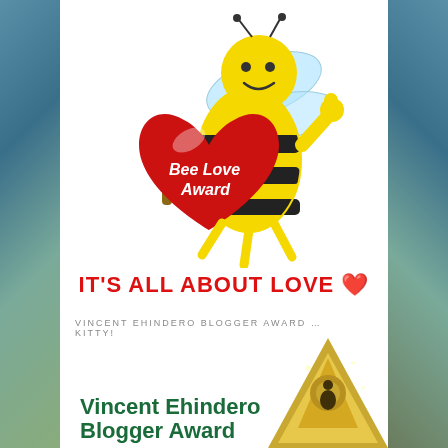[Figure (illustration): Cartoon bee holding a red heart that says 'Bee Love Award', with wings and yellow/black striped body, giving a thumbs up]
IT'S ALL ABOUT LOVE ❤️
VINCENT EHINDERO BLOGGER AWARD … KITTY!
[Figure (illustration): Gold trophy award partially visible in bottom right corner]
Vincent Ehindero Blogger Award